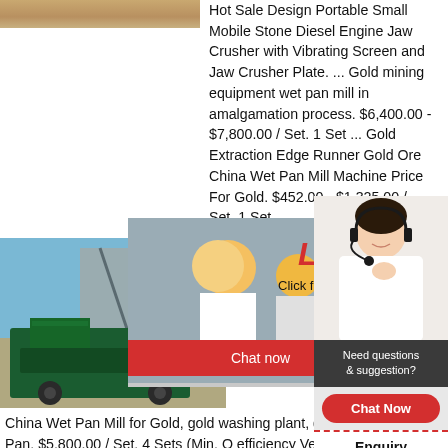[Figure (photo): Top portion of a sandy/rocky surface image, partially visible at top-left corner]
Hot Sale Design Portable Small Mobile Stone Diesel Engine Jaw Crusher with Vibrating Screen and Jaw Crusher Plate. ... Gold mining equipment wet pan mill in amalgamation process. $6,400.00 - $7,800.00 / Set. 1 Set ... Gold Extraction Edge Runner Gold Ore China Wet Pan Mill Machine Price For Gold. $452.00 - $1,325.00 / Set. 1 Set ...
[Figure (photo): Live Chat popup overlay showing workers in hard hats, LIVE CHAT text in red, Click for a Free Consultation text, Chat now and Chat later buttons]
[Figure (photo): Customer service agent with headset on right side widget, with 24Hrs Online header, Need questions & suggestion section, Chat Now button, Enquiry link, and limingjlmofen branding]
[Figure (photo): Mobile stone crusher machine on construction site with blue sky background]
Machinery ...
China Wet Pan Mill for Gold, gold washing plant, g machine. Wet Pan. $5,800.00 / Set. 4 Sets (Min. O efficiency Vertical Shaft Impact Crusher for Mobile making machine stone crusher plant. High Efficien $160,000.00 / Set.